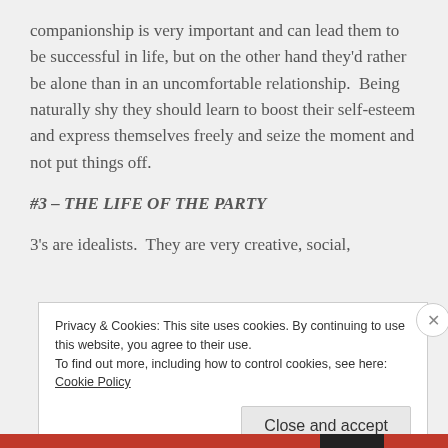companionship is very important and can lead them to be successful in life, but on the other hand they'd rather be alone than in an uncomfortable relationship.  Being naturally shy they should learn to boost their self-esteem and express themselves freely and seize the moment and not put things off.
#3 – THE LIFE OF THE PARTY
3's are idealists.  They are very creative, social,
Privacy & Cookies: This site uses cookies. By continuing to use this website, you agree to their use.
To find out more, including how to control cookies, see here: Cookie Policy